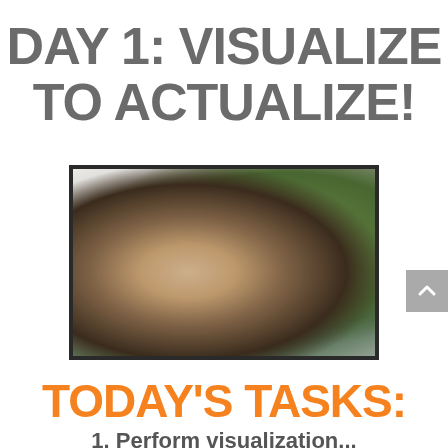DAY 1: VISUALIZE TO ACTUALIZE!
[Figure (photo): A blurred video thumbnail showing a person outdoors with greenery in the background, displayed in a dark-bordered frame.]
TODAY'S TASKS:
1. Perform visualization...